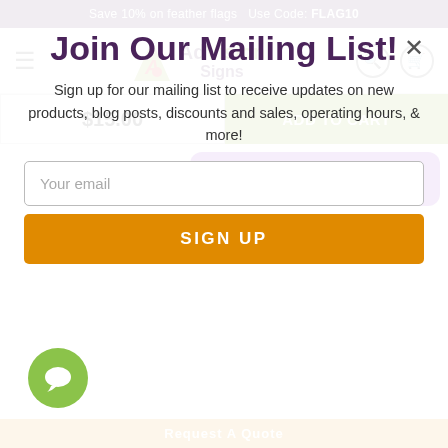Save 10% on feather flags  Use Code: FLAG10
[Figure (logo): AdVision Signs logo with navigation hamburger menu, search and cart icons]
$15.00
ADD TO CART
Design on Canva
[Figure (logo): Hip Hip Hooray for the BUNNY BUFFET colorful logo]
Join Our Mailing List!
Sign up for our mailing list to receive updates on new products, blog posts, discounts and sales, operating hours, & more!
Your email
SIGN UP
Request A Quote